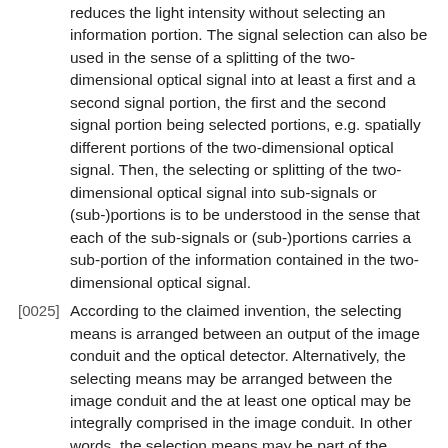reduces the light intensity without selecting an information portion. The signal selection can also be used in the sense of a splitting of the two-dimensional optical signal into at least a first and a second signal portion, the first and the second signal portion being selected portions, e.g. spatially different portions of the two-dimensional optical signal. Then, the selecting or splitting of the two-dimensional optical signal into sub-signals or (sub-)portions is to be understood in the sense that each of the sub-signals or (sub-)portions carries a sub-portion of the information contained in the two-dimensional optical signal.
[0025] According to the claimed invention, the selecting means is arranged between an output of the image conduit and the optical detector. Alternatively, the selecting means may be arranged between the image conduit and the at least one optical may be integrally comprised in the image conduit. In other words, the selection means may be part of the image conduit. Further according to the invention, the selecting means is